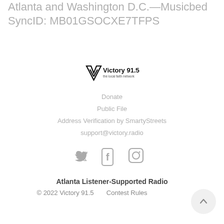Atlanta and Washington D.C.—Musicbed SyncID: MB01GSOCXE7TFPS
[Figure (logo): Victory 91.5 radio station logo with tagline]
Donate
Public File
Address Verification by SmartyStreets
support@victory.radio
[Figure (illustration): Social media icons: Twitter, Facebook, Instagram]
Atlanta Listener-Supported Radio
© 2022 Victory 91.5     Contest Rules